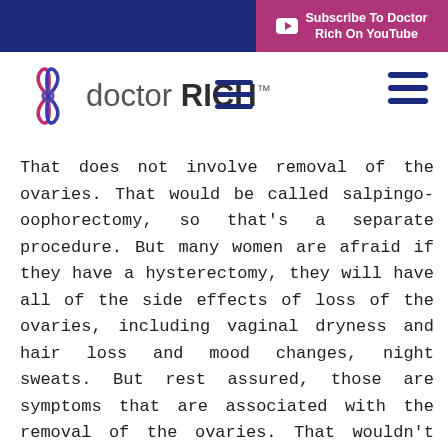Subscribe To Doctor Rich On YouTube
[Figure (logo): Doctor Rich logo with stylized butterfly/infinity symbol in pink and blue, text 'doctor RICH™']
That does not involve removal of the ovaries. That would be called salpingo-oophorectomy, so that's a separate procedure. But many women are afraid if they have a hysterectomy, they will have all of the side effects of loss of the ovaries, including vaginal dryness and hair loss and mood changes, night sweats. But rest assured, those are symptoms that are associated with the removal of the ovaries. That wouldn't happen from just the removal of the uterus, with what we will call a total hysterectomy procedure.